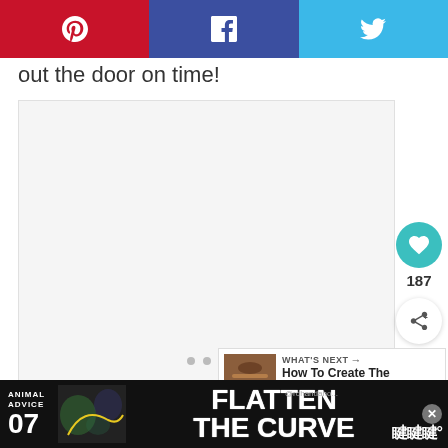[Figure (screenshot): Social share bar with Pinterest (red), Facebook (dark blue), and Twitter (light blue) buttons]
out the door on time!
[Figure (screenshot): Large light gray content placeholder box with three dots at bottom, like button (187), and share button on right side]
[Figure (screenshot): What's Next promotional box: 'How To Create The Perfect...']
[Figure (screenshot): Advertisement banner: Animal Advice 07 Flatten The Curve]